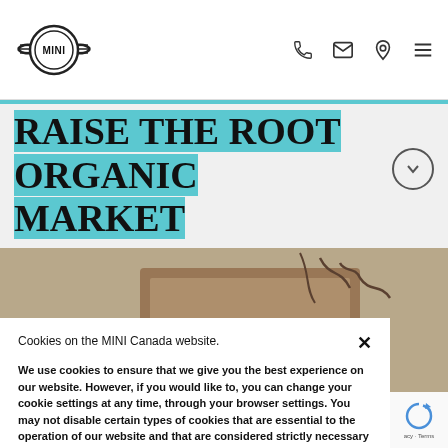MINI logo header with phone, email, location, and menu icons
RAISE THE ROOT ORGANIC MARKET
[Figure (photo): Partial background photo showing organic market items, with orange address tag overlay reading '250 Westlake Ave.']
Cookies on the MINI Canada website.

We use cookies to ensure that we give you the best experience on our website. However, if you would like to, you can change your cookie settings at any time, through your browser settings. You may not disable certain types of cookies that are essential to the operation of our website and that are considered strictly necessary cookies. For example, we use strictly necessary cookies to provide you with regional pricing information. You can find detailed information about how cookies are used on this website by clicking here.